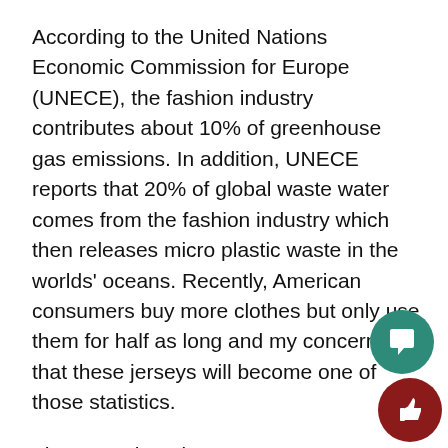According to the United Nations Economic Commission for Europe (UNECE), the fashion industry contributes about 10% of greenhouse gas emissions. In addition, UNECE reports that 20% of global waste water comes from the fashion industry which then releases micro plastic waste in the worlds' oceans. Recently, American consumers buy more clothes but only use them for half as long and my concern is that these jerseys will become one of those statistics.
The #EqualPay jerseys are a commendable effort and pay equity needs all of this attention. If the BHS girls soccer team had not been carded and if they had not sacrificed their game, the attention they are garnering now would not have happened. Yet, these young women were able to make this sacrifice comfortably in comparison to the sweatshop workers who are risking their lives to bring into light their harsh working
[Figure (illustration): Teal circle button with white speech bubble / comment icon]
[Figure (illustration): Dark red circle button with white thumbs-up / like icon]